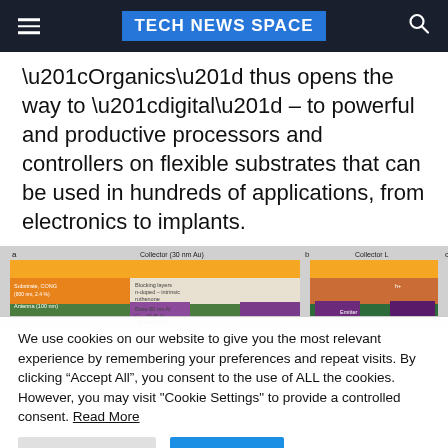TECH NEWS SPACE
“Organics” thus opens the way to “digital” – to powerful and productive processors and controllers on flexible substrates that can be used in hundreds of applications, from electronics to implants.
[Figure (schematic): Technical diagram showing layered structure of an organic transistor/electronic device with labeled components including Collector, Substrate, CONG, Blocking layers, n-doped, intrinsic ruthenone, Base 80nm Al, and a thermal/color image of the device.]
We use cookies on our website to give you the most relevant experience by remembering your preferences and repeat visits. By clicking “Accept All”, you consent to the use of ALL the cookies. However, you may visit "Cookie Settings" to provide a controlled consent. Read More